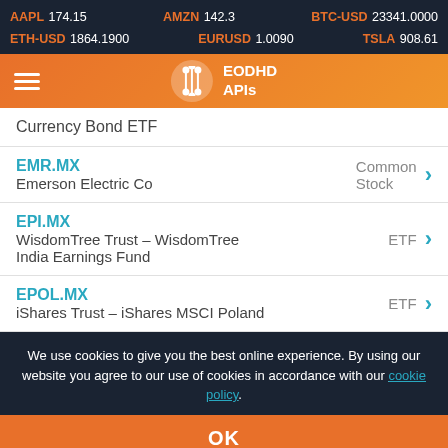AAPL 174.15   AMZN 142.3   BTC-USD 23341.0000   ETH-USD 1864.1900   EURUSD 1.0090   TSLA 908.61
[Figure (logo): EODHD APIs logo with orange gradient header and hamburger menu]
Currency Bond ETF
EMR.MX
Emerson Electric Co
Common Stock
EPI.MX
WisdomTree Trust - WisdomTree India Earnings Fund
ETF
EPOL.MX
iShares Trust - iShares MSCI Poland
ETF
We use cookies to give you the best online experience. By using our website you agree to our use of cookies in accordance with our cookie policy.
OK